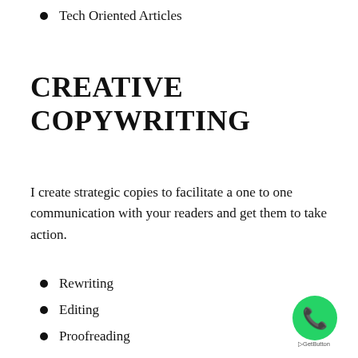Tech Oriented Articles
CREATIVE COPYWRITING
I create strategic copies to facilitate a one to one communication with your readers and get them to take action.
Rewriting
Editing
Proofreading
[Figure (logo): WhatsApp contact button (green circle with phone/chat icon) and GetButton label]